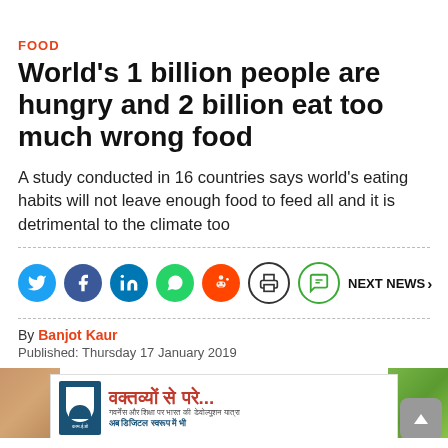FOOD
World's 1 billion people are hungry and 2 billion eat too much wrong food
A study conducted in 16 countries says world's eating habits will not leave enough food to feed all and it is detrimental to the climate too
[Figure (infographic): Social media sharing icons: Twitter (blue), Facebook (dark blue), LinkedIn (blue), WhatsApp (green), Reddit (orange), Print (outlined), Comment (green outlined). Next News > button on right.]
By Banjot Kaur
Published: Thursday 17 January 2019
[Figure (photo): Bottom portion showing a food photo with an Indian advertisement banner in Hindi text reading 'वक्तव्यों से परे...' with a logo and additional Hindi text.]